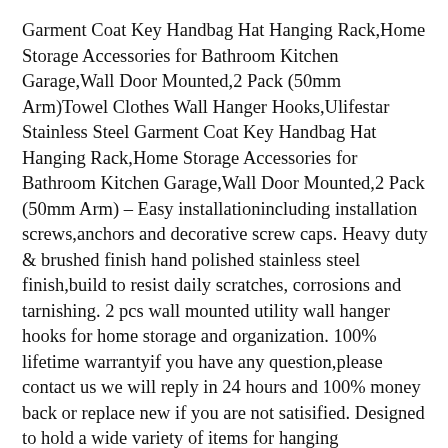Garment Coat Key Handbag Hat Hanging Rack,Home Storage Accessories for Bathroom Kitchen Garage,Wall Door Mounted,2 Pack (50mm Arm)Towel Clothes Wall Hanger Hooks,Ulifestar Stainless Steel Garment Coat Key Handbag Hat Hanging Rack,Home Storage Accessories for Bathroom Kitchen Garage,Wall Door Mounted,2 Pack (50mm Arm) – Easy installationincluding installation screws,anchors and decorative screw caps. Heavy duty & brushed finish hand polished stainless steel finish,build to resist daily scratches, corrosions and tarnishing. 2 pcs wall mounted utility wall hanger hooks for home storage and organization. 100% lifetime warrantyif you have any question,please contact us we will reply in 24 hours and 100% money back or replace new if you are not satisified. Designed to hold a wide variety of items for hanging clothesi¼Œcoati¼Œtoweli¼Œrobei¼Œkeyi¼Œhandbagi¼Œ and more accessories in bedroom,bathroom,closet,laundry room,garage,hotel and moreconvenient for your life.